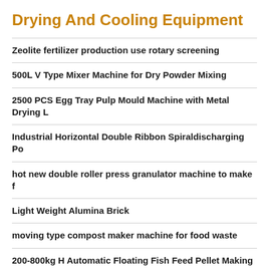Drying And Cooling Equipment
Zeolite fertilizer production use rotary screening
500L V Type Mixer Machine for Dry Powder Mixing
2500 PCS Egg Tray Pulp Mould Machine with Metal Drying L
Industrial Horizontal Double Ribbon Spiraldischarging Po
hot new double roller press granulator machine to make f
Light Weight Alumina Brick
moving type compost maker machine for food waste
200-800kg H Automatic Floating Fish Feed Pellet Making M
fertilizer granule rotary drum cooling machine in Cyprus